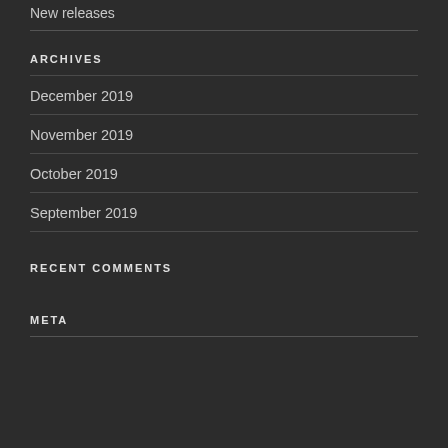New releases
ARCHIVES
December 2019
November 2019
October 2019
September 2019
RECENT COMMENTS
META